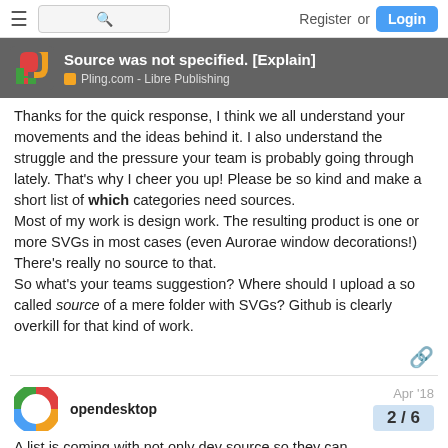Register or Login
Source was not specified. [Explain]
Pling.com - Libre Publishing
Thanks for the quick response, I think we all understand your movements and the ideas behind it. I also understand the struggle and the pressure your team is probably going through lately. That's why I cheer you up! Please be so kind and make a short list of which categories need sources.
Most of my work is design work. The resulting product is one or more SVGs in most cases (even Aurorae window decorations!) There's really no source to that.
So what's your teams suggestion? Where should I upload a so called source of a mere folder with SVGs? Github is clearly overkill for that kind of work.
opendesktop   Apr '18
2 / 6
A list is coming with not only dev source so they can...